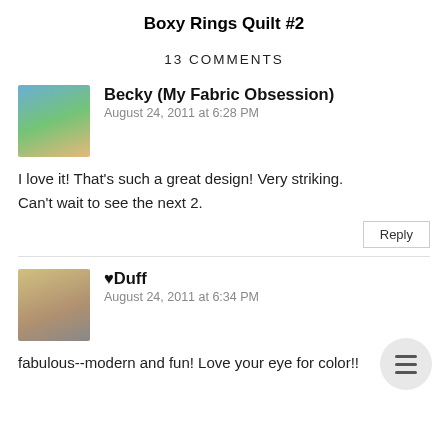Boxy Rings Quilt #2
13 COMMENTS
Becky (My Fabric Obsession)
August 24, 2011 at 6:28 PM

I love it! That's such a great design! Very striking. Can't wait to see the next 2.
♥Duff
August 24, 2011 at 6:34 PM

fabulous--modern and fun! Love your eye for color!!